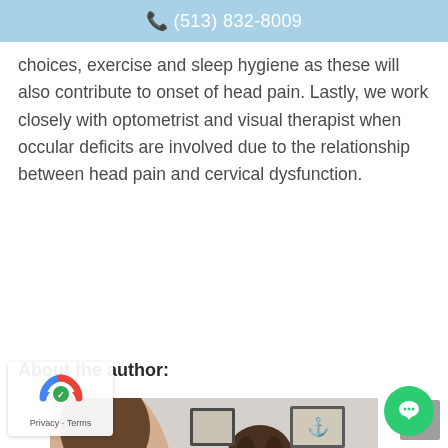(513) 832-8009
choices, exercise and sleep hygiene as these will also contribute to onset of head pain. Lastly, we work closely with optometrist and visual therapist when occular deficits are involved due to the relationship between head pain and cervical dysfunction.
About the author:
[Figure (photo): A female physical therapist smiling and holding a spine model, with a patient visible in the foreground and framed pictures on the wall behind her.]
Privacy · Terms